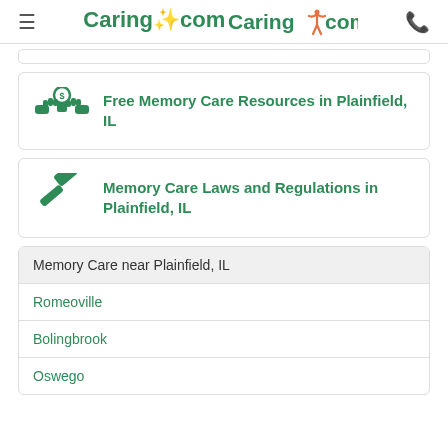Caring.com
Free Memory Care Resources in Plainfield, IL
Memory Care Laws and Regulations in Plainfield, IL
| Memory Care near Plainfield, IL |
| --- |
| Romeoville |
| Bolingbrook |
| Oswego |